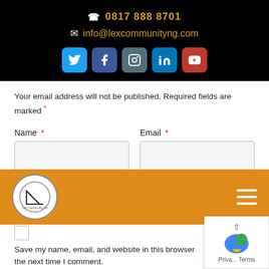0817 888 8701
info@lexcommunityng.com
[Figure (other): Social media icons: Twitter, Facebook, Instagram, LinkedIn, YouTube]
Your email address will not be published. Required fields are marked *
Name *
Email *
Website
[Figure (logo): Lex Community NG logo circle with triangle/ruler icon on orange navigation bar]
Save my name, email, and website in this browser the next time I comment.